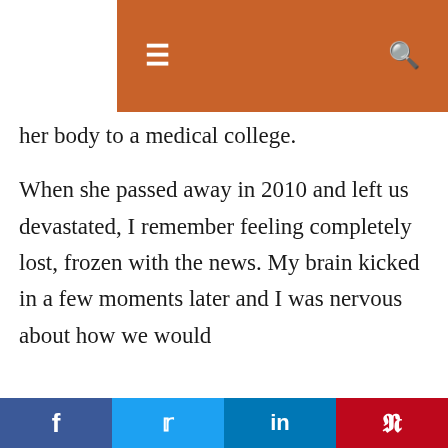Navigation bar with hamburger menu and search icon
her body to a medical college. When she passed away in 2010 and left us devastated, I remember feeling completely lost, frozen with the news. My brain kicked in a few moments later and I was nervous about how we would
We use cookies on our website to give you the most relevant experience by remembering your preferences and repeat visits. By clicking “Accept”, you consent to the use of ALL the cookies. Do not sell my personal information.
Social share bar: Facebook, Twitter, LinkedIn, Pinterest